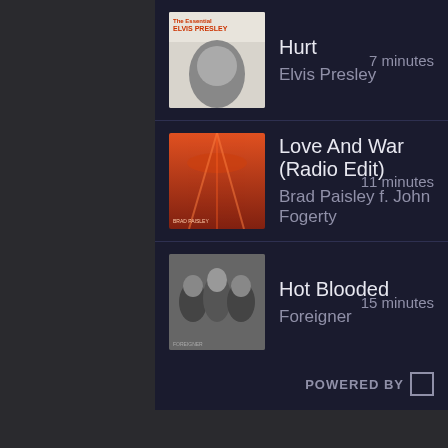Hurt — Elvis Presley — 7 minutes
Love And War (Radio Edit) — Brad Paisley f. John Fogerty — 11 minutes
Hot Blooded — Foreigner — 15 minutes
Music Calendar...
- February 10, 2020
In 1940 "In The Mood" by Glenn Miller hits #1 on the U.S. singles chart and stayed there for 10 weeks.